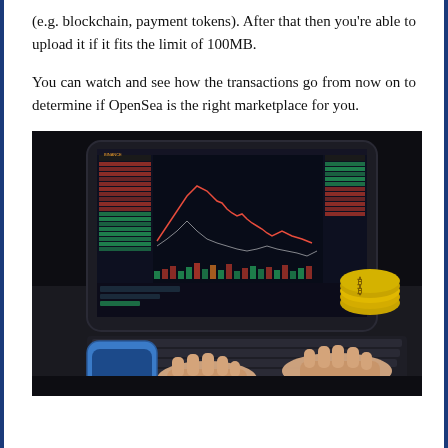(e.g. blockchain, payment tokens). After that then you're able to upload it if it fits the limit of 100MB.
You can watch and see how the transactions go from now on to determine if OpenSea is the right marketplace for you.
[Figure (photo): A person typing on a keyboard connected to a tablet showing a Binance cryptocurrency trading interface with candlestick charts, order books, and price data. A blue iPhone and gold Bitcoin coins are visible on the dark desk.]